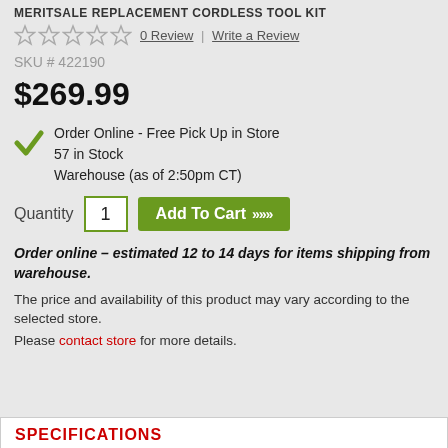MERITSALE REPLACEMENT CORDLESS TOOL KIT
★★★★★  0 Review  |  Write a Review
SKU # 422190
$269.99
Order Online - Free Pick Up in Store
57 in Stock
Warehouse (as of 2:50pm CT)
Quantity  1  Add To Cart >>>
Order online – estimated 12 to 14 days for items shipping from warehouse.
The price and availability of this product may vary according to the selected store.
Please contact store for more details.
SPECIFICATIONS